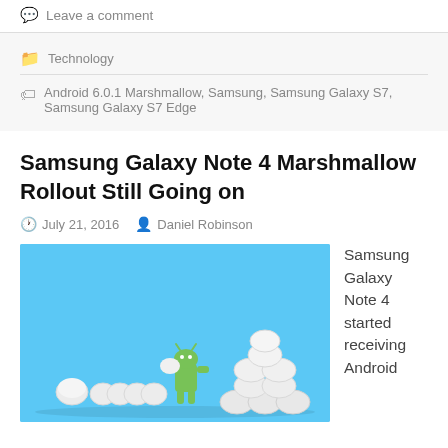Leave a comment
Technology
Android 6.0.1 Marshmallow, Samsung, Samsung Galaxy S7, Samsung Galaxy S7 Edge
Samsung Galaxy Note 4 Marshmallow Rollout Still Going on
July 21, 2016   Daniel Robinson
[Figure (photo): Android Marshmallow mascot (green Android figure) surrounded by marshmallow figurines on a light blue background]
Samsung Galaxy Note 4 started receiving Android